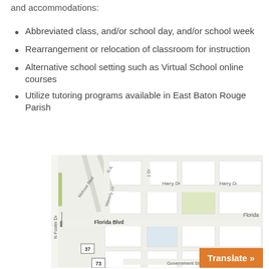and accommodations:
Abbreviated class, and/or school day, and/or school week
Rearrangement or relocation of classroom for instruction
Alternative school setting such as Virtual School online courses
Utilize tutoring programs available in East Baton Rouge Parish
[Figure (map): Street map showing area around Florida Blvd in East Baton Rouge Parish, with streets including N Foster Dr, Melrose Blvd, Waverly Dr, Harry Dr, and Government St, with route markers 37 and 73 visible.]